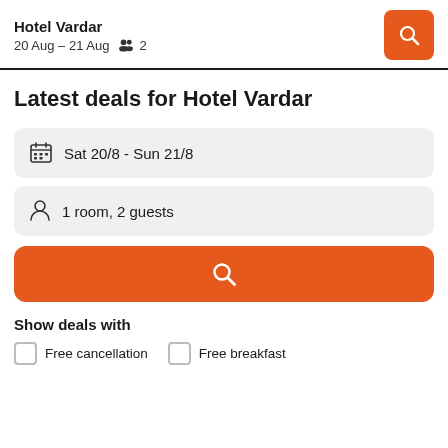Hotel Vardar
20 Aug – 21 Aug  2
Latest deals for Hotel Vardar
Sat 20/8  -  Sun 21/8
1 room, 2 guests
Show deals with
Free cancellation
Free breakfast